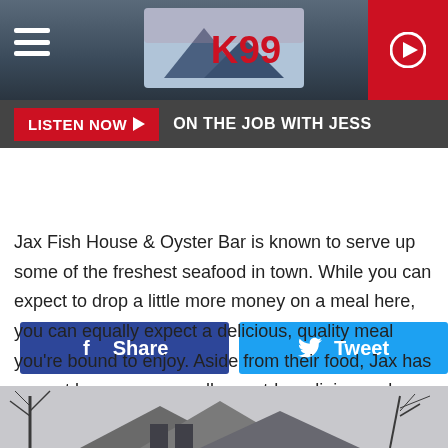[Figure (screenshot): K99 radio station website header with logo, hamburger menu, play button, and 'Listen Now / On The Job With Jess' bar]
[Figure (screenshot): Facebook Share and Twitter Tweet social sharing buttons]
Jax Fish House & Oyster Bar is known to serve up some of the freshest seafood in town. While you can expect to drop a little more money on a meal here, you can equally expect a delicious, quality meal you're bound to enjoy. Aside from their food, Jax has a great bar scene as well as outdoor dining and doubles as a great venue for special occasions.
[Figure (photo): Black and white photo of a building exterior with trees in winter]